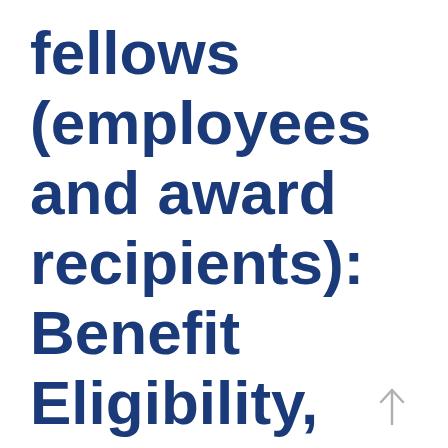fellows (employees and award recipients): Benefit Eligibility, Start Dates and Cost